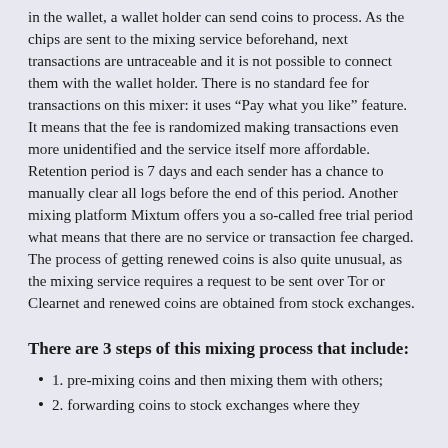in the wallet, a wallet holder can send coins to process. As the chips are sent to the mixing service beforehand, next transactions are untraceable and it is not possible to connect them with the wallet holder. There is no standard fee for transactions on this mixer: it uses “Pay what you like” feature. It means that the fee is randomized making transactions even more unidentified and the service itself more affordable. Retention period is 7 days and each sender has a chance to manually clear all logs before the end of this period. Another mixing platform Mixtum offers you a so-called free trial period what means that there are no service or transaction fee charged. The process of getting renewed coins is also quite unusual, as the mixing service requires a request to be sent over Tor or Clearnet and renewed coins are obtained from stock exchanges.
There are 3 steps of this mixing process that include:
1. pre-mixing coins and then mixing them with others;
2. forwarding coins to stock exchanges where they